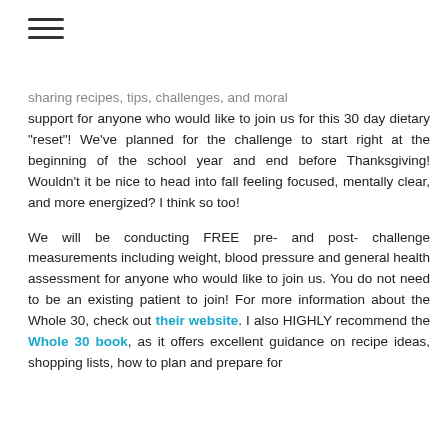[Figure (other): Hamburger menu icon (three horizontal lines)]
sharing recipes, tips, challenges, and moral support for anyone who would like to join us for this 30 day dietary "reset"! We've planned for the challenge to start right at the beginning of the school year and end before Thanksgiving! Wouldn't it be nice to head into fall feeling focused, mentally clear, and more energized? I think so too!
We will be conducting FREE pre- and post-challenge measurements including weight, blood pressure and general health assessment for anyone who would like to join us. You do not need to be an existing patient to join! For more information about the Whole 30, check out their website. I also HIGHLY recommend the Whole 30 book, as it offers excellent guidance on recipe ideas, shopping lists, how to plan and prepare for